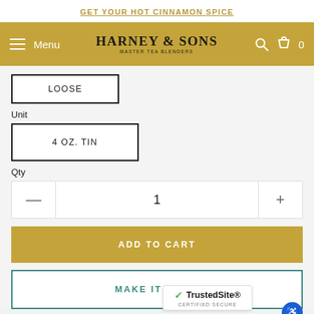GET YOUR HOT CINNAMON SPICE
[Figure (logo): Harney & Sons Master Tea Blenders logo with navigation menu and cart icon on gold background]
LOOSE
Unit
4 OZ. TIN
Qty
1
ADD TO CART
MAKE IT A SET
[Figure (logo): TrustedSite Certified Secure badge]